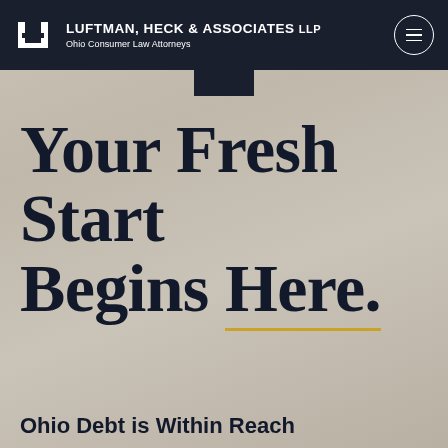Luftman, Heck & Associates LLP — Ohio Consumer Law Attorneys
Your Fresh Start Begins Here.
Ohio Debt is Within Reach